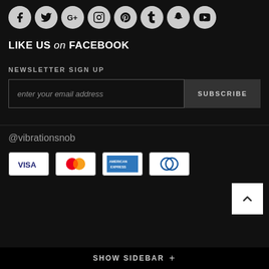[Figure (infographic): Row of 8 social media icon circles (Facebook, Twitter, Google+, Instagram, Pinterest, Tumblr, Snapchat, YouTube) in grey circles on dark background]
LIKE US on FACEBOOK
NEWSLETTER SIGN UP
enter your email address  SUBSCRIBE
@vibrationsnob
[Figure (infographic): Four payment card logos: VISA, MasterCard, American Express, Diners Club]
SHOW SIDEBAR  +